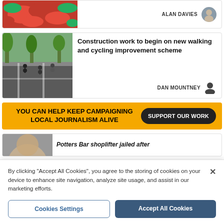[Figure (photo): Red and green peppers/chillies close-up photo]
ALAN DAVIES
[Figure (photo): Cycling lane with cyclists on a road, trees in background]
Construction work to begin on new walking and cycling improvement scheme
DAN MOUNTNEY
YOU CAN HELP KEEP CAMPAIGNING LOCAL JOURNALISM ALIVE  SUPPORT OUR WORK
[Figure (photo): Partial face/head photo, cropped]
Potters Bar shoplifter jailed after
By clicking "Accept All Cookies", you agree to the storing of cookies on your device to enhance site navigation, analyze site usage, and assist in our marketing efforts.
Cookies Settings
Accept All Cookies